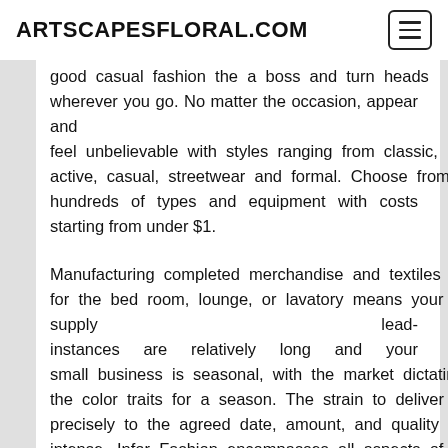ARTSCAPESFLORAL.COM
good casual fashion the a boss and turn heads wherever you go. No matter the occasion, appear and feel unbelievable with styles ranging from classic, active, casual, streetwear and formal. Choose from hundreds of types and equipment with costs starting from under $1.
Manufacturing completed merchandise and textiles for the bed room, lounge, or lavatory means your supply lead-instances are relatively long and your small business is seasonal, with the market dictating the color traits for a season. The strain to deliver precisely to the agreed date, amount, and quality is intense. Infor Fashion encompasses all aspects of provide chain administration, so you can consolidate demand plans from a number of sources.